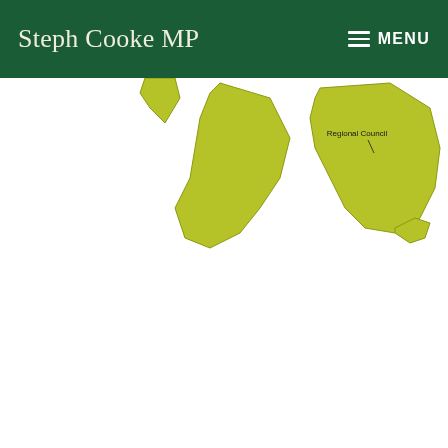Steph Cooke MP  MENU
[Figure (map): Partial view of a yellow-green regional council map, partially cropped, showing a region labeled 'Regional Council' in yellow-green color on a white background.]